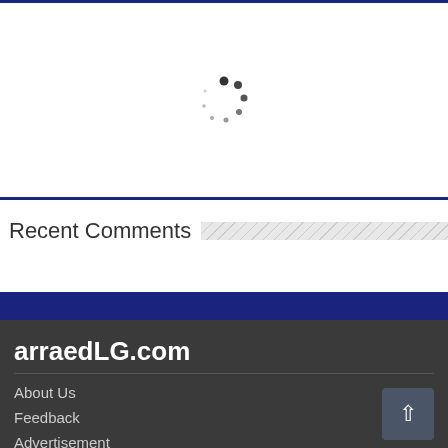[Figure (other): Loading spinner (circular dots animation indicator) centered in a white content area]
Recent Comments
arraedLG.com
About Us
Feedback
Advertisement
Disclaimer